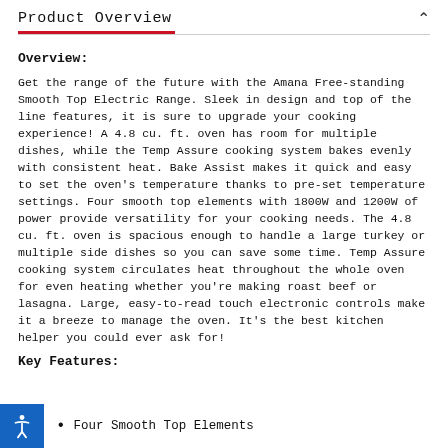Product Overview
Overview:
Get the range of the future with the Amana Free-standing Smooth Top Electric Range. Sleek in design and top of the line features, it is sure to upgrade your cooking experience! A 4.8 cu. ft. oven has room for multiple dishes, while the Temp Assure cooking system bakes evenly with consistent heat. Bake Assist makes it quick and easy to set the oven's temperature thanks to pre-set temperature settings. Four smooth top elements with 1800W and 1200W of power provide versatility for your cooking needs. The 4.8 cu. ft. oven is spacious enough to handle a large turkey or multiple side dishes so you can save some time. Temp Assure cooking system circulates heat throughout the whole oven for even heating whether you're making roast beef or lasagna. Large, easy-to-read touch electronic controls make it a breeze to manage the oven. It's the best kitchen helper you could ever ask for!
Key Features:
Four Smooth Top Elements